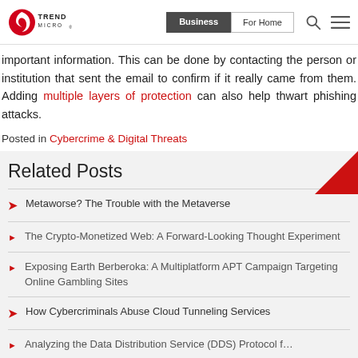Trend Micro | Business | For Home
important information. This can be done by contacting the person or institution that sent the email to confirm if it really came from them. Adding multiple layers of protection can also help thwart phishing attacks.
Posted in Cybercrime & Digital Threats
Related Posts
Metaworse? The Trouble with the Metaverse
The Crypto-Monetized Web: A Forward-Looking Thought Experiment
Exposing Earth Berberoka: A Multiplatform APT Campaign Targeting Online Gambling Sites
How Cybercriminals Abuse Cloud Tunneling Services
Analyzing the Data Distribution Service (DDS) Protocol f…